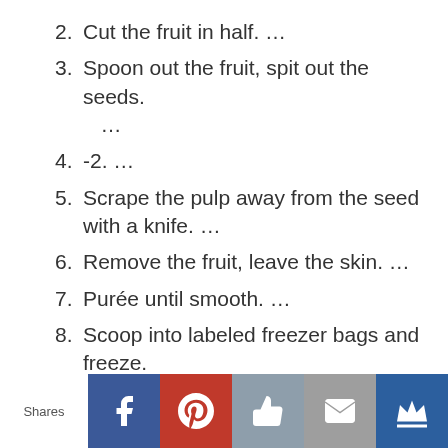2. Cut the fruit in half. …
3. Spoon out the fruit, spit out the seeds. …
4. -2. …
5. Scrape the pulp away from the seed with a knife. …
6. Remove the fruit, leave the skin. …
7. Purée until smooth. …
8. Scoop into labeled freezer bags and freeze.
Shares [Facebook] [Pinterest] [Like] [Email] [Crown]